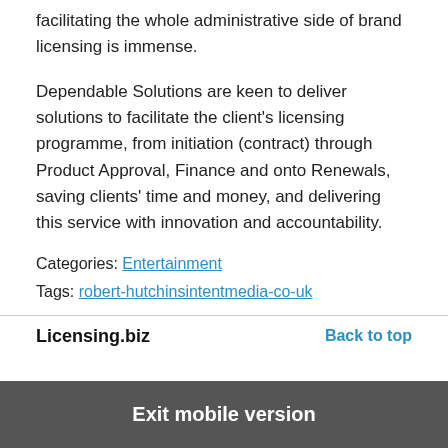facilitating the whole administrative side of brand licensing is immense.
Dependable Solutions are keen to deliver solutions to facilitate the client's licensing programme, from initiation (contract) through Product Approval, Finance and onto Renewals, saving clients' time and money, and delivering this service with innovation and accountability.
Categories: Entertainment
Tags: robert-hutchinsintentmedia-co-uk
Licensing.biz    Back to top
Exit mobile version